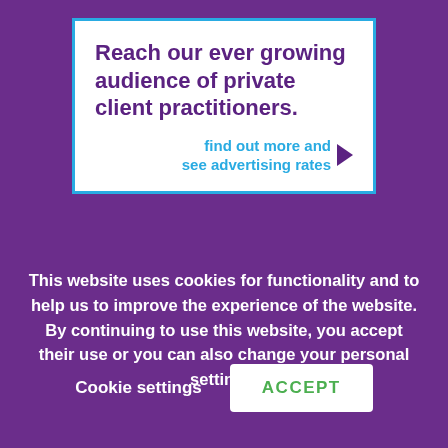[Figure (infographic): White advertisement box with teal border containing purple bold headline text and a teal 'find out more and see advertising rates' call to action with purple arrow]
This website uses cookies for functionality and to help us to improve the experience of the website. By continuing to use this website, you accept their use or you can also change your personal settings.
Cookie settings
ACCEPT